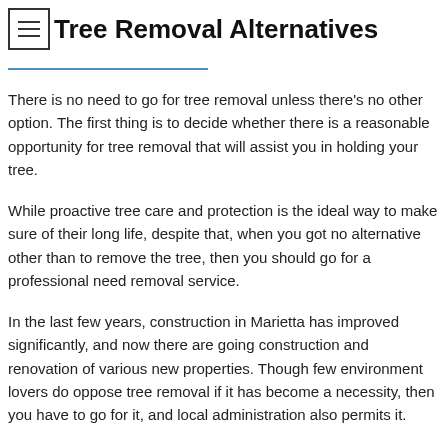Tree Removal Alternatives
There is no need to go for tree removal unless there's no other option. The first thing is to decide whether there is a reasonable opportunity for tree removal that will assist you in holding your tree.
While proactive tree care and protection is the ideal way to make sure of their long life, despite that, when you got no alternative other than to remove the tree, then you should go for a professional need removal service.
In the last few years, construction in Marietta has improved significantly, and now there are going construction and renovation of various new properties. Though few environment lovers do oppose tree removal if it has become a necessity, then you have to go for it, and local administration also permits it.